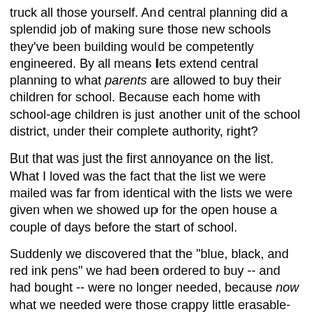truck all those yourself. And central planning did a splendid job of making sure those new schools they've been building would be competently engineered. By all means lets extend central planning to what parents are allowed to buy their children for school. Because each home with school-age children is just another unit of the school district, under their complete authority, right?
But that was just the first annoyance on the list. What I loved was the fact that the list we were mailed was far from identical with the lists we were given when we showed up for the open house a couple of days before the start of school.
Suddenly we discovered that the "blue, black, and red ink pens" we had been ordered to buy -- and had bought -- were no longer needed, because now what we needed were those crappy little erasable-ink pens -- you know, the smeary ones that don't really erase completely.
The #2 pencils they asked for in the mailed list -- which we had already bought -- suddenly became mechanical pencils. Why? So that kids wouldn't constantly be getting up to use the pencil sharpener. (Heaven forbid children should actually be permitted to walk about the classroom.)
At the open house we learned about items not on the list,